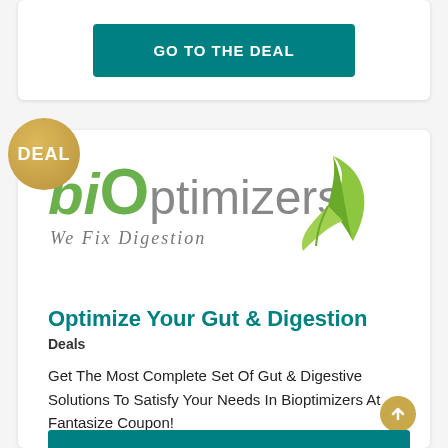GO TO THE DEAL
[Figure (logo): biOptimizers logo with green leaf graphic and tagline 'We Fix Digestion']
Optimize Your Gut & Digestion
Deals
Get The Most Complete Set Of Gut & Digestive Solutions To Satisfy Your Needs In Bioptimizers At Fantasize Coupon!
Valid until November 30, 2023